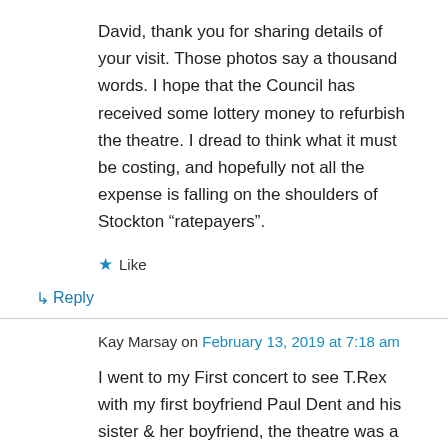David, thank you for sharing details of your visit. Those photos say a thousand words. I hope that the Council has received some lottery money to refurbish the theatre. I dread to think what it must be costing, and hopefully not all the expense is falling on the shoulders of Stockton “ratepayers”.
★ Like
↳ Reply
Kay Marsay on February 13, 2019 at 7:18 am
I went to my First concert to see T.Rex with my first boyfriend Paul Dent and his sister & her boyfriend, the theatre was a perfect venue for